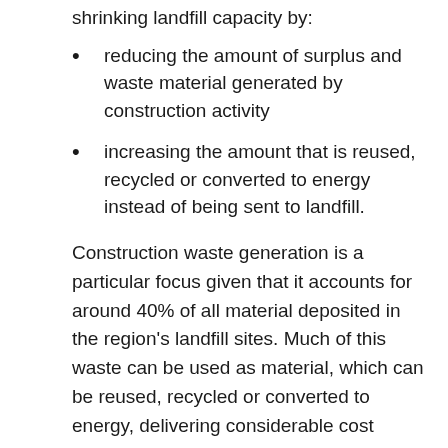shrinking landfill capacity by:
reducing the amount of surplus and waste material generated by construction activity
increasing the amount that is reused, recycled or converted to energy instead of being sent to landfill.
Construction waste generation is a particular focus given that it accounts for around 40% of all material deposited in the region's landfill sites. Much of this waste can be used as material, which can be reused, recycled or converted to energy, delivering considerable cost reductions, lowering carbon and other environmental impacts, and at the same time creating new revenue streams and helping to